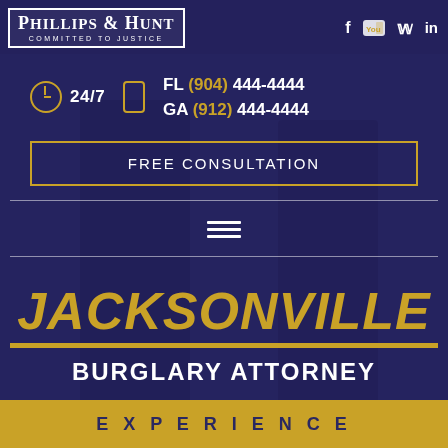[Figure (screenshot): Phillips & Hunt law firm website screenshot showing logo, social media icons, contact info, consultation button, Jacksonville Burglary Attorney heading, and Experience footer]
PHILLIPS & HUNT
COMMITTED TO JUSTICE
24/7
FL (904) 444-4444
GA (912) 444-4444
FREE CONSULTATION
JACKSONVILLE
BURGLARY ATTORNEY
EXPERIENCE